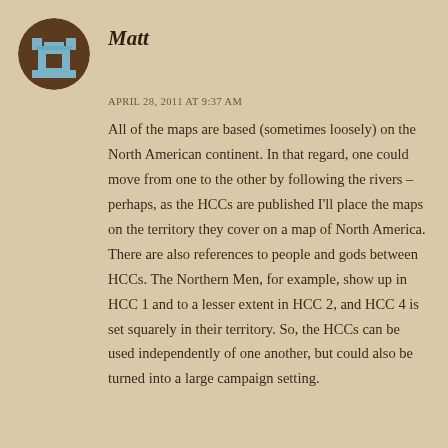[Figure (illustration): Circular avatar image with brown background showing a pixelated/stylized blue and brown chess rook or tower icon]
Matt
APRIL 28, 2011 AT 9:37 AM
All of the maps are based (sometimes loosely) on the North American continent. In that regard, one could move from one to the other by following the rivers – perhaps, as the HCCs are published I'll place the maps on the territory they cover on a map of North America. There are also references to people and gods between HCCs. The Northern Men, for example, show up in HCC 1 and to a lesser extent in HCC 2, and HCC 4 is set squarely in their territory. So, the HCCs can be used independently of one another, but could also be turned into a large campaign setting.